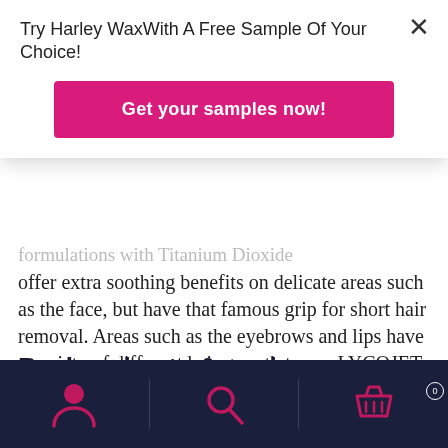Try Harley WaxWith A Free Sample Of Your Choice!
Get your samples now!
formulations with Titanium Dioxide offer extra soothing benefits on delicate areas such as the face, but have that famous grip for short hair removal. Areas such as the eyebrows and lips have a variety of different hair growth types. LYCOJET waxes are ideal to use on the short, fluffy facial hair, as well as the more difficult to remove hair in these areas.
Backs, chests & necks
LYCON hard wax is great for smaller